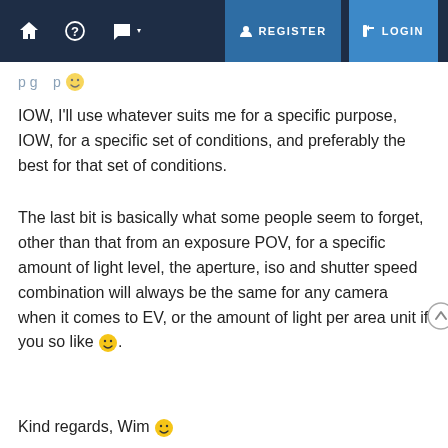REGISTER  LOGIN
IOW, I'll use whatever suits me for a specific purpose, IOW, for a specific set of conditions, and preferably the best for that set of conditions.
The last bit is basically what some people seem to forget, other than that from an exposure POV, for a specific amount of light level, the aperture, iso and shutter speed combination will always be the same for any camera when it comes to EV, or the amount of light per area unit if you so like 😊.
Kind regards, Wim 😊